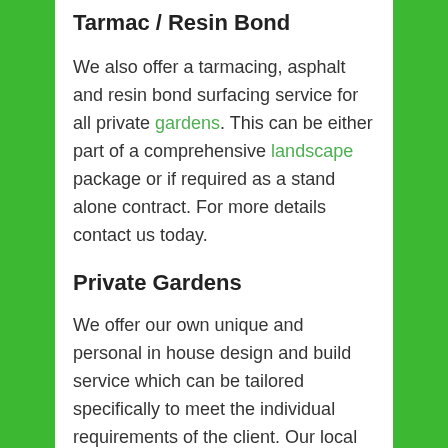Tarmac / Resin Bond
We also offer a tarmacing, asphalt and resin bond surfacing service for all private gardens. This can be either part of a comprehensive landscape package or if required as a stand alone contract. For more details contact us today.
Private Gardens
We offer our own unique and personal in house design and build service which can be tailored specifically to meet the individual requirements of the client. Our local experts understand your gardening needs, for more info get in touch with the Hungerford